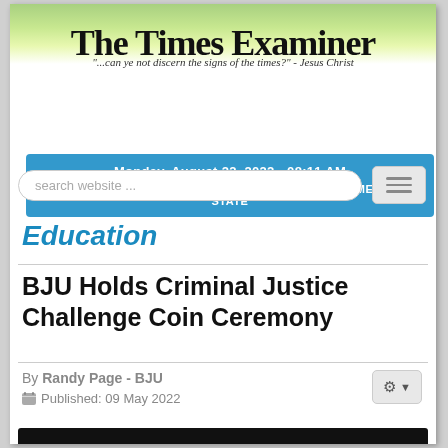The Times Examiner
"...can ye not discern the signs of the times?" - Jesus Christ
Monday, August 22, 2022 - 08:11 AM
INDEPENDENT CONSERVATIVE VOICE OF THE PALMETTO STATE
Education
BJU Holds Criminal Justice Challenge Coin Ceremony
By Randy Page - BJU
Published: 09 May 2022